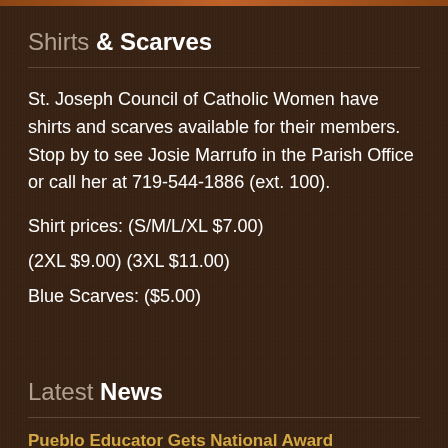Shirts & Scarves
St. Joseph Council of Catholic Women have shirts and scarves available for their members. Stop by to see Josie Marrufo in the Parish Office or call her at 719-544-1886 (ext. 100).
Shirt prices: (S/M/L/XL $7.00)
(2XL $9.00) (3XL $11.00)
Blue Scarves: ($5.00)
Latest News
Pueblo Educator Gets National Award